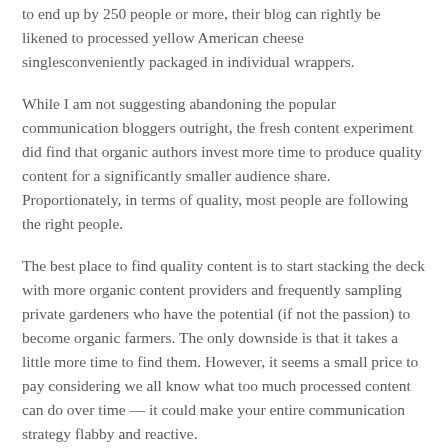to end up by 250 people or more, their blog can rightly be likened to processed yellow American cheese singlesconveniently packaged in individual wrappers.
While I am not suggesting abandoning the popular communication bloggers outright, the fresh content experiment did find that organic authors invest more time to produce quality content for a significantly smaller audience share. Proportionately, in terms of quality, most people are following the right people.
The best place to find quality content is to start stacking the deck with more organic content providers and frequently sampling private gardeners who have the potential (if not the passion) to become organic farmers. The only downside is that it takes a little more time to find them. However, it seems a small price to pay considering we all know what too much processed content can do over time — it could make your entire communication strategy flabby and reactive.
This is the fifth lesson from the Fresh Content experiment, which tracked 250 blogs for almost a year. The experiment focused on the quality of the content and not the perceived